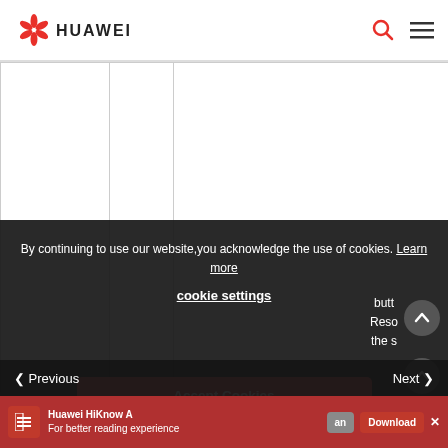HUAWEI
|  |  |  |  | the b setti rese swit dow butt at le sec To re swi s butt Reso the s |
By continuing to use our website,you acknowledge the use of cookies. Learn more
cookie settings
Accept Cookies
Reject Cookies
Previous | Next
Huawei HiKnow A For better reading experience | Download